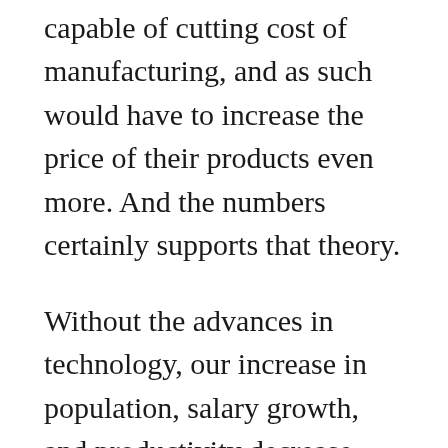companies would not be capable of cutting cost of manufacturing, and as such would have to increase the price of their products even more. And the numbers certainly supports that theory.
Without the advances in technology, our increase in population, salary growth, and productivity decrease, would simply not be sustainable.
But there is also another factor at play. Technology is allowing us to expand the scope of what each one of us can engage with. This is nothing new. Before the industrial age,